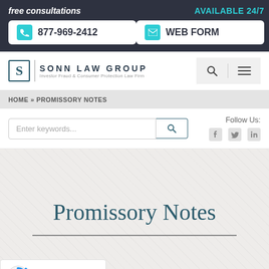free consultations | AVAILABLE 24/7 | 877-969-2412 | WEB FORM
[Figure (logo): Sonn Law Group logo with S monogram, firm name, and tagline: Investor Fraud & Consumer Protection Law Firm]
HOME » PROMISSORY NOTES
Enter keywords...
Follow Us:
Promissory Notes
[Figure (other): reCAPTCHA badge with Privacy and Terms links]